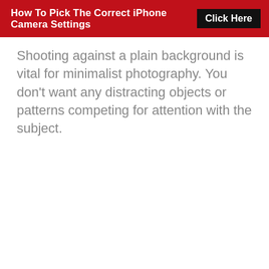How To Pick The Correct iPhone Camera Settings  Click Here
Shooting against a plain background is vital for minimalist photography. You don't want any distracting objects or patterns competing for attention with the subject.